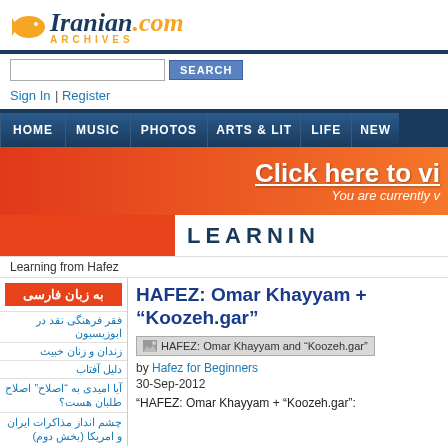[Figure (logo): Iranian.com Archives logo with goldfish icon]
Sign In | Register
HOME | MUSIC | PHOTOS | ARTS & LIT | LIFE | NEW
[Figure (screenshot): Click here to vi... orange banner ad]
[Figure (screenshot): LEARNING orange banner]
Learning from Hafez
HAFEZ: Omar Khayyam + "Koozeh.gar"
فقر فرهنگی نقد در ابوزیسیون
زندان و زنان خبیث
دلیل آفتاب
آیا امیدی به "اصلاح" اصلاح طلبان هست؟
چشم انداز مذاکرات ایران و امریکا (بخش دوم)
[Figure (photo): HAFEZ: Omar Khayyam and Koozeh.gar thumbnail]
by Hafez for Beginners
30-Sep-2012
"HAFEZ: Omar Khayyam + "Koozeh.gar":